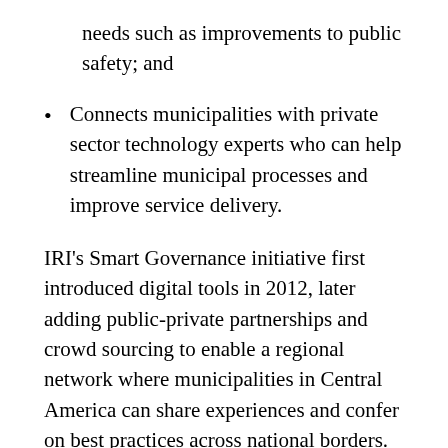needs such as improvements to public safety; and
Connects municipalities with private sector technology experts who can help streamline municipal processes and improve service delivery.
IRI's Smart Governance initiative first introduced digital tools in 2012, later adding public-private partnerships and crowd sourcing to enable a regional network where municipalities in Central America can share experiences and confer on best practices across national borders.  This year, IRI is helping to strengthen municipal technical capacity and help communities build political support for